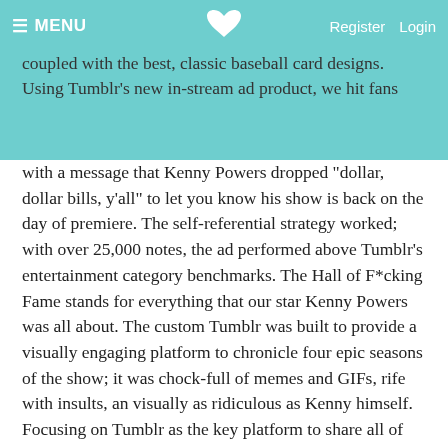deserved, and fans obliged. We created the perfect balance of content that works in social news feeds, coupled with the best, classic baseball card designs. Using Tumblr's new in-stream ad product, we hit fans
with a message that Kenny Powers dropped "dollar, dollar bills, y'all" to let you know his show is back on the day of premiere. The self-referential strategy worked; with over 25,000 notes, the ad performed above Tumblr's entertainment category benchmarks. The Hall of F*cking Fame stands for everything that our star Kenny Powers was all about. The custom Tumblr was built to provide a visually engaging platform to chronicle four epic seasons of the show; it was chock-full of memes and GIFs, rife with insults, an visually as ridiculous as Kenny himself. Focusing on Tumblr as the key platform to share all of the classic one-liners, words of wisdom, flawless love advice, and quintessential KP middle fingers gave fans an inherently shareable platform to enjoy and share the best of what Kenny Powers and Eastbound & Down had to offer. And for those who weren't fortunate